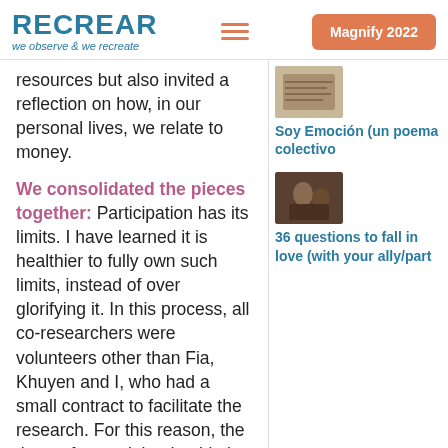RECREAR we observe & we recreate | Magnify 2022
resources but also invited a reflection on how, in our personal lives, we relate to money.
We consolidated the pieces together:
Participation has its limits. I have learned it is healthier to fully own such limits, instead of over glorifying it. In this process, all co-researchers were volunteers other than Fia, Khuyen and I, who had a small contract to facilitate the research. For this reason, the three of us took leadership in consolidating all
[Figure (photo): Small thumbnail photo, appears to show handwriting or a document close-up]
Soy Emoción (un poema colectivo
[Figure (photo): Small thumbnail photo showing people]
36 questions to fall in love (with your ally/part